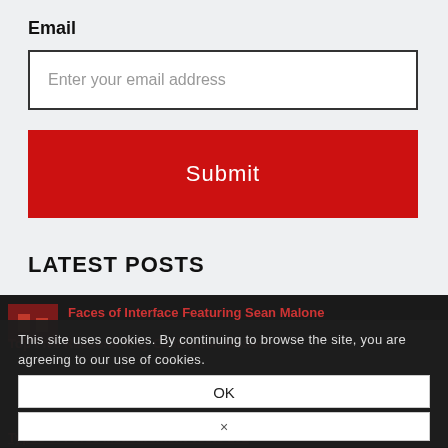Email
Enter your email address
Submit
LATEST POSTS
Faces of Interface Featuring Sean Malone
This site uses cookies. By continuing to browse the site, you are agreeing to our use of cookies.
Top Five Reasons Why Calibration Matters
OK
×
Types of Force Measurement Tests 101